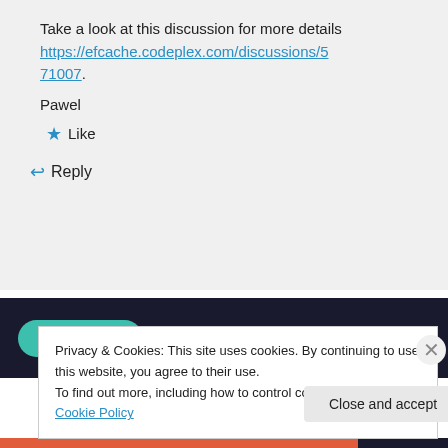Take a look at this discussion for more details https://efcache.codeplex.com/discussions/571007.
Pawel
★ Like
↳ Reply
[Figure (screenshot): Dark banner with teal 'Learn More' button]
Privacy & Cookies: This site uses cookies. By continuing to use this website, you agree to their use. To find out more, including how to control cookies, see here: Cookie Policy
Close and accept